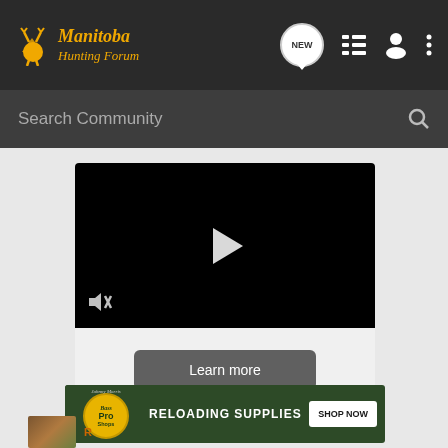Manitoba Hunting Forum
Search Community
[Figure (screenshot): Video player with black background, white play button in center, mute icon bottom-left]
Learn more
[Figure (screenshot): Bass Pro Shops banner ad: RELOADING SUPPLIES with SHOP NOW button on dark green background]